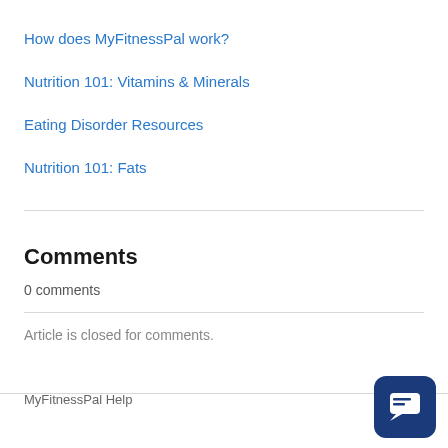How does MyFitnessPal work?
Nutrition 101: Vitamins & Minerals
Eating Disorder Resources
Nutrition 101: Fats
Comments
0 comments
Article is closed for comments.
MyFitnessPal Help    English